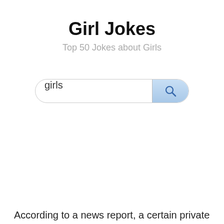Girl Jokes
Top 50 Jokes about Girls
[Figure (screenshot): Search box with text 'girls' and a blue search button with magnifying glass icon]
According to a news report, a certain private